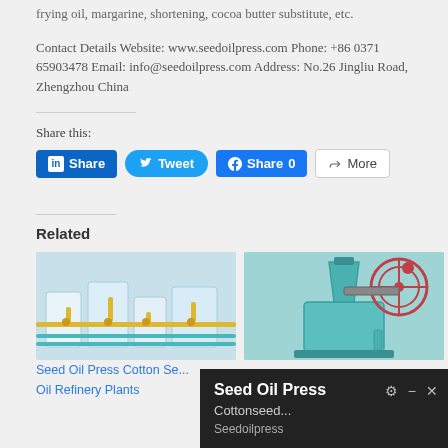frying oil, margarine, shortening, cocoa butter substitute, etc.
Contact Details Website: www.seedoilpress.com Phone: +86 0371 65903478 Email: info@seedoilpress.com Address: No.26 Jingliu Road, Zhengzhou China
Share this:
[Figure (other): Social sharing buttons: LinkedIn Share, Tweet, Facebook Share 0, More]
Related
[Figure (photo): Seed oil press cotton seed oil refinery plant machinery photo]
[Figure (photo): Seed oil press cottonseed machine photo]
Seed Oil Press Cotton Se... Oil Refinery Plants
[Figure (screenshot): Notification bar showing: Seed Oil Press, Cottonseed..., Seedoilpress with gear, minimize, and close icons]